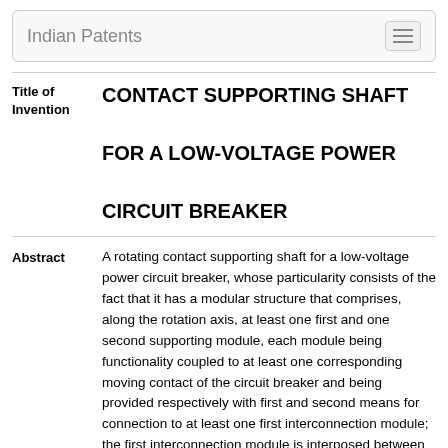Indian Patents
CONTACT SUPPORTING SHAFT FOR A LOW-VOLTAGE POWER CIRCUIT BREAKER
A rotating contact supporting shaft for a low-voltage power circuit breaker, whose particularity consists of the fact that it has a modular structure that comprises, along the rotation axis, at least one first and one second supporting module, each module being functionality coupled to at least one corresponding moving contact of the circuit breaker and being provided respectively with first and second means for connection to at least one first interconnection module; the first interconnection module is interposed between the